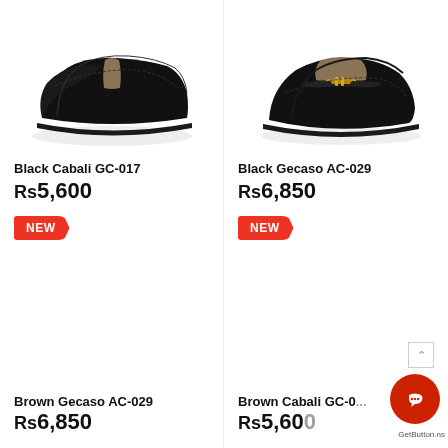[Figure (photo): Black lace-up leather shoe - Black Cabali GC-017]
[Figure (photo): Black loafer with metal bit - Black Gecaso AC-029]
Black Cabali GC-017
Rs 5,600
NEW
Black Gecaso AC-029
Rs 6,850
NEW
[Figure (photo): Brown Gecaso AC-029 shoe (partially visible)]
[Figure (photo): Brown Cabali GC-... shoe (partially visible)]
Brown Gecaso AC-029
Brown Cabali GC-...
Rs 6,850 (partial)
Rs 5,600 (partial)